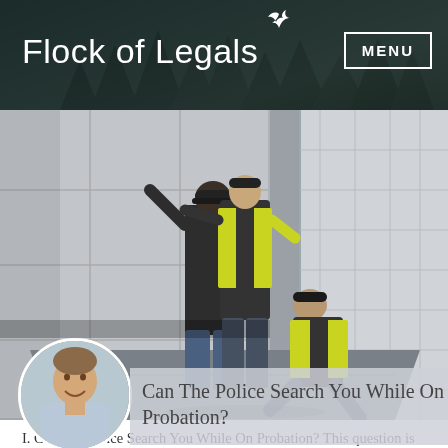Flock of Legals
[Figure (photo): Two police officers in yellow vests searching a person against a wall in an outdoor corridor]
[Figure (photo): Headshot of a middle-aged man smiling, wearing a light blue shirt]
Can The Police Search You While On Probation?
I. Can The Police Search You While On Probation? This question is often asked by clients who are on probation and the answer to this is generally yes, but there